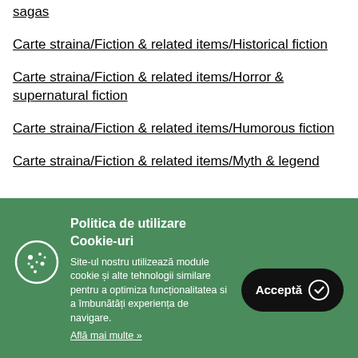sagas
Carte straina/Fiction & related items/Historical fiction
Carte straina/Fiction & related items/Horror & supernatural fiction
Carte straina/Fiction & related items/Humorous fiction
Carte straina/Fiction & related items/Myth & legend
[Figure (other): Cookie consent overlay with green background, cookie icon, title 'Politica de utilizare Cookie-uri', body text about cookies, 'Afla mai multe' link, and 'Accepta' button]
Politica de utilizare Cookie-uri
Site-ul nostru utilizează module cookie și alte tehnologii similare pentru a optimiza funcționalitatea si a îmbunătăți experiența de navigare.
Află mai multe »